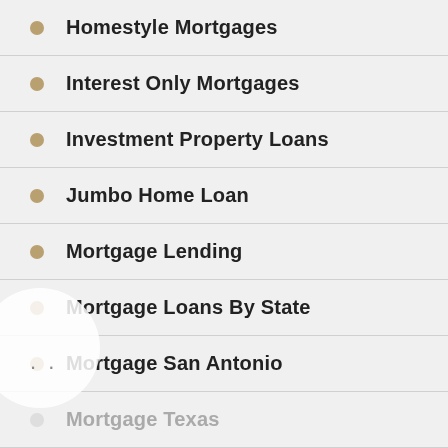Homestyle Mortgages
Interest Only Mortgages
Investment Property Loans
Jumbo Home Loan
Mortgage Lending
Mortgage Loans By State
Mortgage San Antonio
Mortgage Texas
Mortgages Arlington